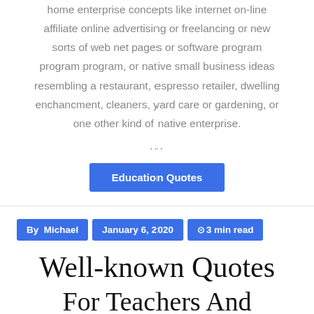home enterprise concepts like internet on-line affiliate online advertising or freelancing or new sorts of web net pages or software program program program, or native small business ideas resembling a restaurant, espresso retailer, dwelling enchancment, cleaners, yard care or gardening, or one other kind of native enterprise.
...
Education Quotes
By  Michael | January 6, 2020 | ⊙3 min read
Well-known Quotes For Teachers And